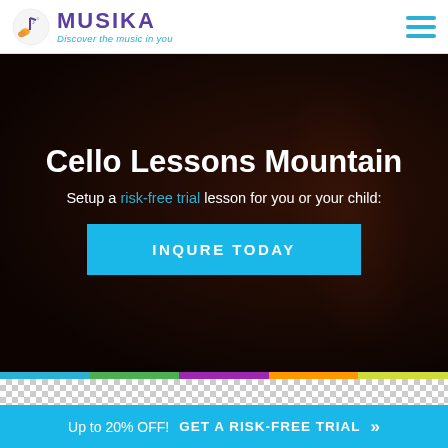[Figure (logo): Musika music school logo with stylized musical note icon, purple MUSIKA text, and cyan tagline 'Discover the music in you']
Cello Lessons Mountain
Setup a risk-free trial lesson for you or your child:
INQURE TODAY
Up to 20% OFF!  GET A RISK-FREE TRIAL »